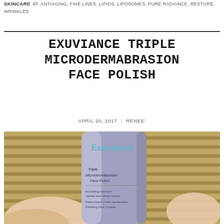SKINCARE   ANTIAGING, FINE LINES, LIPIDS, LIPOSOMES, PURE RADIANCE, RESTORE, WRINKLES
EXUVIANCE TRIPLE MICRODERMABRASION FACE POLISH
APRIL 20, 2017  /  RENEE'
[Figure (photo): Close-up photo of a hand holding a silver tube of Exuviance Triple Microdermabrasion Face Polish against a bamboo/wood slat background. The tube label reads: Exuviance, Triple Microdermabrasion Face Polish, Exfoliating treatment, clarifies and refines texture, Potent blend of skin rejuvenators, Polishing Face Crystals.]